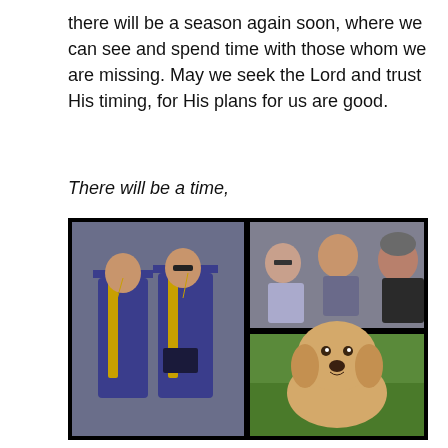there will be a season again soon, where we can see and spend time with those whom we are missing. May we seek the Lord and trust His timing, for His plans for us are good.
There will be a time,
[Figure (photo): A collage of three photos on a black background. Left: two young men in blue graduation gowns with gold sashes and caps. Top right: a young man with glasses, a woman, and another young man in a Penn State hoodie taking a selfie. Bottom right: a yellow Labrador puppy sitting on green grass.]